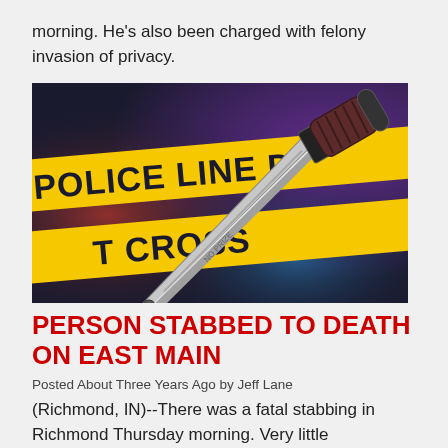morning.  He's also been charged with felony invasion of privacy.
[Figure (photo): Police line tape with knife resting on top. Yellow caution tape reads 'POLICE LINE DO NOT CROSS' with a large combat knife lying across it, colorful blurred lights in background.]
PERSON STABBED TO DEATH ON EAST MAIN
Posted About Three Years Ago by Jeff Lane
(Richmond, IN)--There was a fatal stabbing in Richmond Thursday morning.  Very little information had been released by 7 a.m., but police were called to a